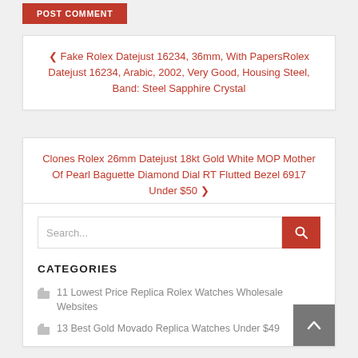POST COMMENT
❮ Fake Rolex Datejust 16234, 36mm, With PapersRolex Datejust 16234, Arabic, 2002, Very Good, Housing Steel, Band: Steel Sapphire Crystal
Clones Rolex 26mm Datejust 18kt Gold White MOP Mother Of Pearl Baguette Diamond Dial RT Flutted Bezel 6917 Under $50 ❯
[Figure (screenshot): Search bar with red search button and Categories section listing replica watch links]
CATEGORIES
11 Lowest Price Replica Rolex Watches Wholesale Websites
13 Best Gold Movado Replica Watches Under $49